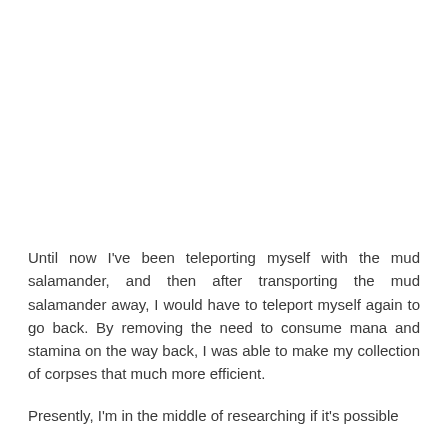Until now I've been teleporting myself with the mud salamander, and then after transporting the mud salamander away, I would have to teleport myself again to go back. By removing the need to consume mana and stamina on the way back, I was able to make my collection of corpses that much more efficient.
Presently, I'm in the middle of researching if it's possible